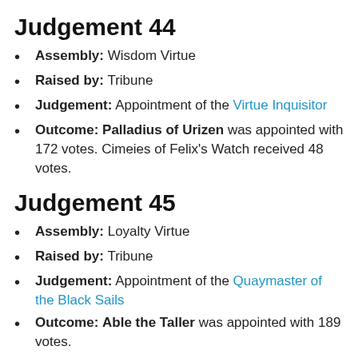Judgement 44
Assembly: Wisdom Virtue
Raised by: Tribune
Judgement: Appointment of the Virtue Inquisitor
Outcome: Palladius of Urizen was appointed with 172 votes. Cimeies of Felix's Watch received 48 votes.
Judgement 45
Assembly: Loyalty Virtue
Raised by: Tribune
Judgement: Appointment of the Quaymaster of the Black Sails
Outcome: Able the Taller was appointed with 189 votes.
Judgement 49
Assembly: Varushka National